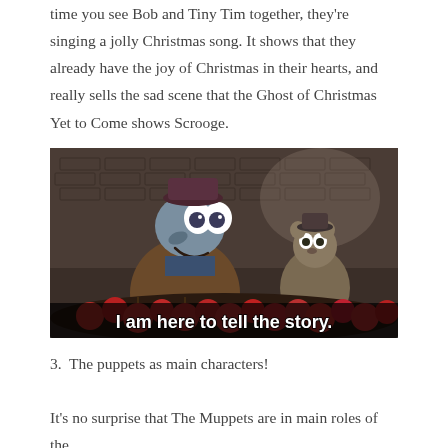time you see Bob and Tiny Tim together, they're singing a jolly Christmas song. It shows that they already have the joy of Christmas in their hearts, and really sells the sad scene that the Ghost of Christmas Yet to Come shows Scrooge.
[Figure (photo): Screenshot from The Muppet Christmas Carol showing two Muppet characters (Gonzo and Rizzo) at a market stall with apples. Subtitle text reads: 'I am here to tell the story.']
3.  The puppets as main characters!
It's no surprise that The Muppets are in main roles of the